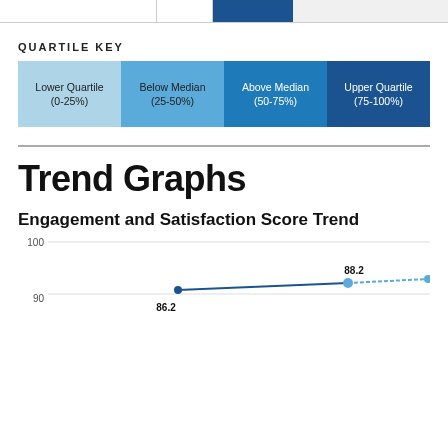[Figure (infographic): Partial top bar with colored segments including a dark blue block]
QUARTILE KEY
| Lower Quartile (0-25%) | Below Median (25-50%) | Above Median (50-75%) | Upper Quartile (75-100%) |
| --- | --- | --- | --- |
Trend Graphs
Engagement and Satisfaction Score Trend
[Figure (line-chart): Engagement and Satisfaction Score Trend]